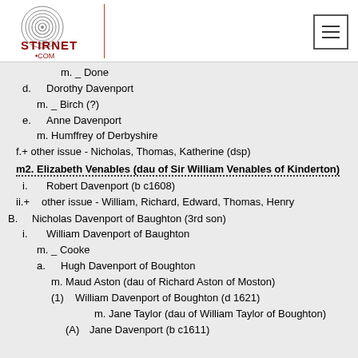[Figure (logo): Stirnet.com logo with fingerprint graphic]
m. _ Done
d. Dorothy Davenport
   m. _ Birch (?)
e. Anne Davenport
   m. Humffrey of Derbyshire
f.+ other issue - Nicholas, Thomas, Katherine (dsp)
m2. Elizabeth Venables (dau of Sir William Venables of Kinderton)
i. Robert Davenport (b c1608)
ii.+ other issue - William, Richard, Edward, Thomas, Henry
B. Nicholas Davenport of Baughton (3rd son)
i. William Davenport of Baughton
   m. _ Cooke
a. Hugh Davenport of Boughton
   m. Maud Aston (dau of Richard Aston of Moston)
(1) William Davenport of Boughton (d 1621)
    m. Jane Taylor (dau of William Taylor of Boughton)
(A) Jane Davenport (b c1611)